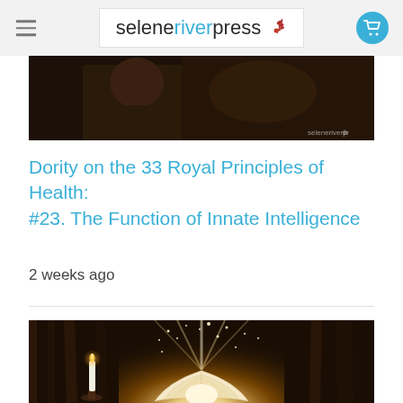seleneriverpress
[Figure (photo): Partially visible person or scene, cropped at top of article listing]
Dority on the 33 Royal Principles of Health: #23. The Function of Innate Intelligence
2 weeks ago
[Figure (photo): An open book glowing with golden light and sparkles, with a white candle in a holder on the left, set on a wooden table in dim surroundings]